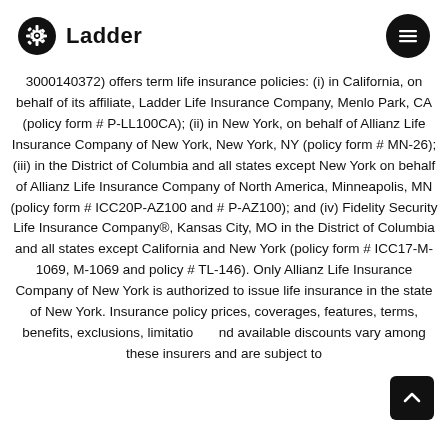[Figure (logo): Ladder logo with gear-like icon and wordmark 'Ladder']
3000140372) offers term life insurance policies: (i) in California, on behalf of its affiliate, Ladder Life Insurance Company, Menlo Park, CA (policy form # P-LL100CA); (ii) in New York, on behalf of Allianz Life Insurance Company of New York, New York, NY (policy form # MN-26); (iii) in the District of Columbia and all states except New York on behalf of Allianz Life Insurance Company of North America, Minneapolis, MN (policy form # ICC20P-AZ100 and # P-AZ100); and (iv) Fidelity Security Life Insurance Company®, Kansas City, MO in the District of Columbia and all states except California and New York (policy form # ICC17-M-1069, M-1069 and policy # TL-146). Only Allianz Life Insurance Company of New York is authorized to issue life insurance in the state of New York. Insurance policy prices, coverages, features, terms, benefits, exclusions, limitations and available discounts vary among these insurers and are subject to